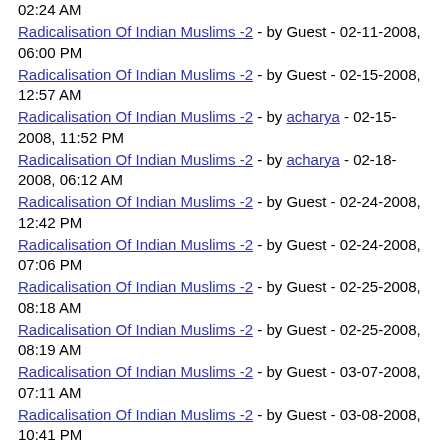02:24 AM
Radicalisation Of Indian Muslims -2 - by Guest - 02-11-2008, 06:00 PM
Radicalisation Of Indian Muslims -2 - by Guest - 02-15-2008, 12:57 AM
Radicalisation Of Indian Muslims -2 - by acharya - 02-15-2008, 11:52 PM
Radicalisation Of Indian Muslims -2 - by acharya - 02-18-2008, 06:12 AM
Radicalisation Of Indian Muslims -2 - by Guest - 02-24-2008, 12:42 PM
Radicalisation Of Indian Muslims -2 - by Guest - 02-24-2008, 07:06 PM
Radicalisation Of Indian Muslims -2 - by Guest - 02-25-2008, 08:18 AM
Radicalisation Of Indian Muslims -2 - by Guest - 02-25-2008, 08:19 AM
Radicalisation Of Indian Muslims -2 - by Guest - 03-07-2008, 07:11 AM
Radicalisation Of Indian Muslims -2 - by Guest - 03-08-2008, 10:41 PM
Radicalisation Of Indian Muslims -2 - by Guest - 03-18-2008, 10:22 PM
Radicalisation Of Indian Muslims -2 - by Guest - 03-27-2008, 05:29 PM
Radicalisation Of Indian Muslims -2 - by Guest - 03-28-2008, (cut off)